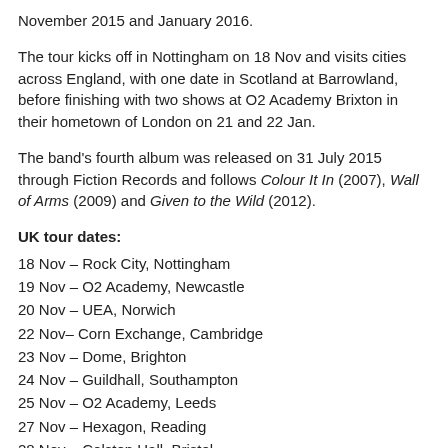November 2015 and January 2016.
The tour kicks off in Nottingham on 18 Nov and visits cities across England, with one date in Scotland at Barrowland, before finishing with two shows at O2 Academy Brixton in their hometown of London on 21 and 22 Jan.
The band's fourth album was released on 31 July 2015 through Fiction Records and follows Colour It In (2007), Wall of Arms (2009) and Given to the Wild (2012).
UK tour dates:
18 Nov – Rock City, Nottingham
19 Nov – O2 Academy, Newcastle
20 Nov – UEA, Norwich
22 Nov– Corn Exchange, Cambridge
23 Nov – Dome, Brighton
24 Nov – Guildhall, Southampton
25 Nov – O2 Academy, Leeds
27 Nov – Hexagon, Reading
28 Nov – Colston Hall, Bristol